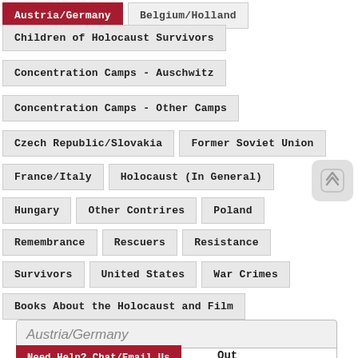Austria/Germany
Belgium/Holland
Children of Holocaust Survivors
Concentration Camps - Auschwitz
Concentration Camps - Other Camps
Czech Republic/Slovakia
Former Soviet Union
France/Italy
Holocaust (In General)
Hungary
Other Contrires
Poland
Remembrance
Rescuers
Resistance
Survivors
United States
War Crimes
Books About the Holocaust and Film
Austria/Germany
Need Help? Chat/Email Us
Out